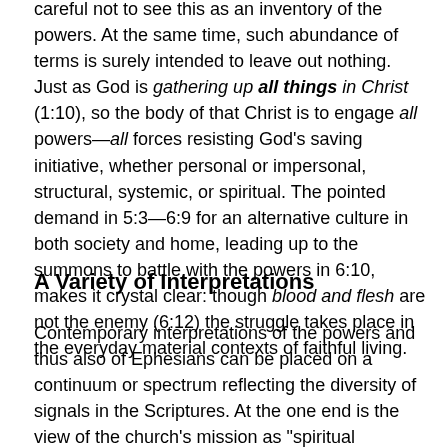careful not to see this as an inventory of the powers. At the same time, such abundance of terms is surely intended to leave out nothing. Just as God is gathering up all things in Christ (1:10), so the body of that Christ is to engage all powers—all forces resisting God's saving initiative, whether personal or impersonal, structural, systemic, or spiritual. The pointed demand in 5:3—6:9 for an alternative culture in both society and home, leading up to the summons to battle with the powers in 6:10, makes it crystal clear: though blood and flesh are not the enemy (6:12) the struggle takes place in the everyday material contexts of faithful living.
A Variety of Interpretations
Contemporary interpretations of the powers and thus also of Ephesians can be placed on a continuum or spectrum reflecting the diversity of signals in the Scriptures. At the one end is the view of the church's mission as "spiritual